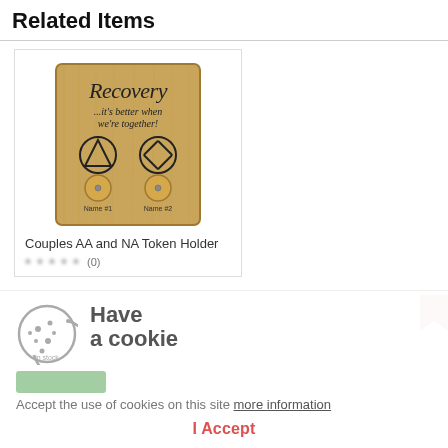Related Items
[Figure (photo): Wooden plaque product: 'Recovery ...it's better when we're together!' with AA and NA symbols and two token holders labeled Name #1 and Name #2]
Couples AA and NA Token Holder
(0)
[Figure (illustration): Cookie consent banner with cookie icon, 'Have a cookie' heading, accept text, and I Accept button]